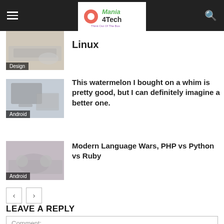Mania 4Tech — Think Out Of The Box
[Figure (screenshot): Thumbnail image with 'Design' category label, partially cropped]
Linux
[Figure (screenshot): Thumbnail image of Apple desktop/laptop setup with 'Android' category label]
This watermelon I bought on a whim is pretty good, but I can definitely imagine a better one.
[Figure (screenshot): Thumbnail image of headphones on keyboard with 'Android' category label]
Modern Language Wars, PHP vs Python vs Ruby
< >
LEAVE A REPLY
Comment: